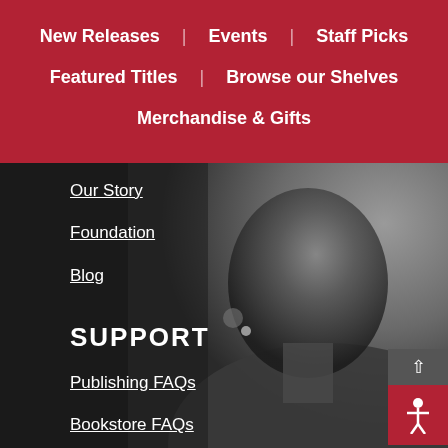New Releases | Events | Staff Picks | Featured Titles | Browse our Shelves | Merchandise & Gifts
Our Story
Foundation
Blog
SUPPORT
Publishing FAQs
Bookstore FAQs
Customer Support
Privacy Policy
[Figure (photo): Grayscale photo of a person's profile/side of face in the background]